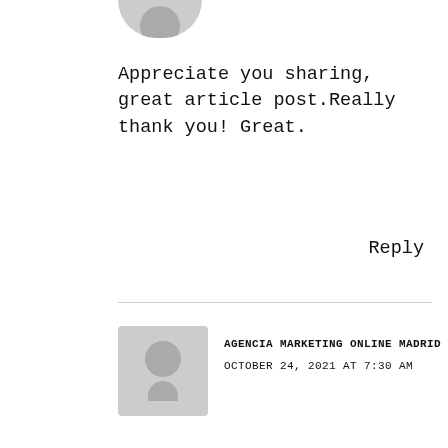[Figure (illustration): Partial gray avatar/profile placeholder icon at top]
Appreciate you sharing, great article post.Really thank you! Great.
Reply
AGENCIA MARKETING ONLINE MADRID
OCTOBER 24, 2021 AT 7:30 AM
[Figure (illustration): Gray avatar/profile placeholder icon for second commenter]
Looking forward to reading more. Great
We use cookies to personalize content and ads, to provide social media features and to analyze our traffic. You consent to our cookies if you continue to use our website.
Reply
Accept
LOGIN PNC VIRTUAL WALLET FIRST TIME
OCTOBER 25, 2021 AT 7:13 AM